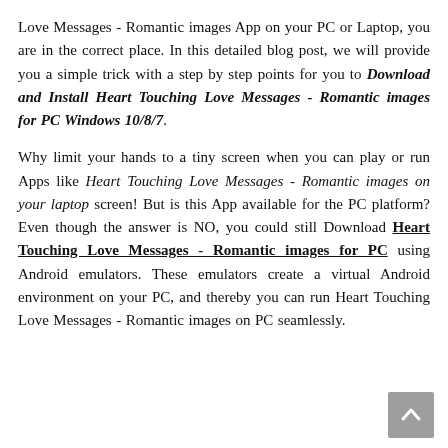Love Messages - Romantic images App on your PC or Laptop, you are in the correct place. In this detailed blog post, we will provide you a simple trick with a step by step points for you to Download and Install Heart Touching Love Messages - Romantic images for PC Windows 10/8/7.
Why limit your hands to a tiny screen when you can play or run Apps like Heart Touching Love Messages - Romantic images on your laptop screen! But is this App available for the PC platform? Even though the answer is NO, you could still Download Heart Touching Love Messages - Romantic images for PC using Android emulators. These emulators create a virtual Android environment on your PC, and thereby you can run Heart Touching Love Messages - Romantic images on PC seamlessly.